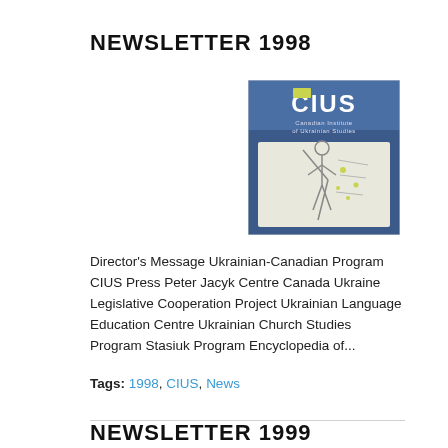NEWSLETTER 1998
[Figure (photo): Cover of CIUS (Canadian Institute of Ukrainian Studies) newsletter, showing a blue background with the CIUS logo and an artistic sketch of a figure.]
Director's Message Ukrainian-Canadian Program CIUS Press Peter Jacyk Centre Canada Ukraine Legislative Cooperation Project Ukrainian Language Education Centre Ukrainian Church Studies Program Stasiuk Program Encyclopedia of...
Tags: 1998, CIUS, News
NEWSLETTER 1999